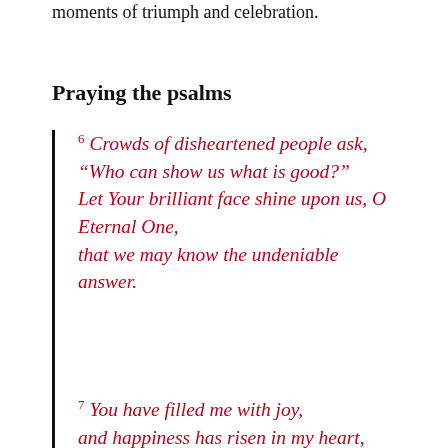moments of triumph and celebration.
Praying the psalms
6 Crowds of disheartened people ask, “Who can show us what is good?” Let Your brilliant face shine upon us, O Eternal One, that we may know the undeniable answer.
7 You have filled me with joy, and happiness has risen in my heart, great delight and unrivaled joy, even more than when bread abounds and wine flows freely.